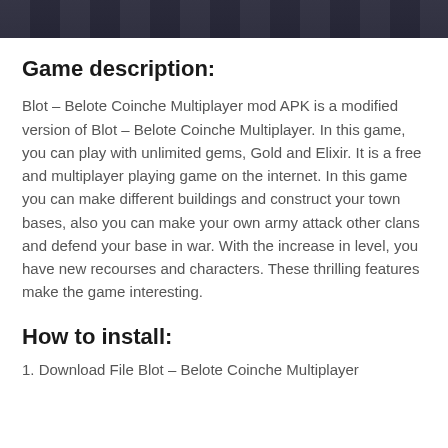[Figure (screenshot): Top banner image showing a game screenshot, dark background]
Game description:
Blot – Belote Coinche Multiplayer mod APK is a modified version of Blot – Belote Coinche Multiplayer. In this game, you can play with unlimited gems, Gold and Elixir. It is a free and multiplayer playing game on the internet. In this game you can make different buildings and construct your town bases, also you can make your own army attack other clans and defend your base in war. With the increase in level, you have new recourses and characters. These thrilling features make the game interesting.
How to install:
1. Download File Blot – Belote Coinche Multiplayer